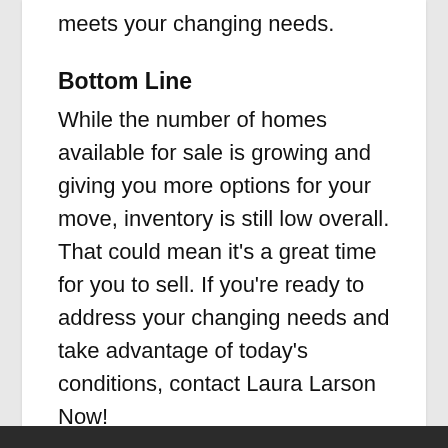meets your changing needs.
Bottom Line
While the number of homes available for sale is growing and giving you more options for your move, inventory is still low overall. That could mean it's a great time for you to sell. If you're ready to address your changing needs and take advantage of today's conditions, contact Laura Larson Now!